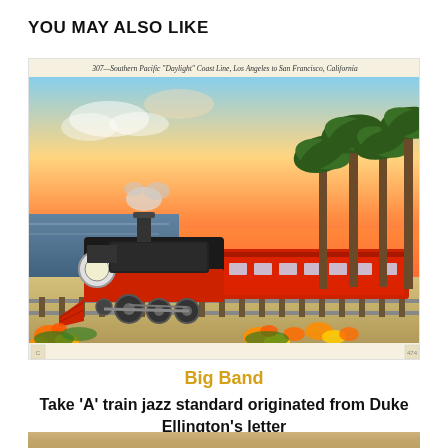YOU MAY ALSO LIKE
[Figure (illustration): Vintage postcard illustration of Southern Pacific 'Daylight' Coast Line locomotive — a black and red streamlined steam train traveling along the California coast with palm trees, flowers, ocean, and a colorful sunset sky. Caption text at top: '307—Southern Pacific "Daylight" Coast Line, Los Angeles to San Francisco, California']
Big Band
Take 'A' train jazz standard originated from Duke Ellington's letter
[Figure (photo): Partial bottom image — cropped photograph, only top edge visible]